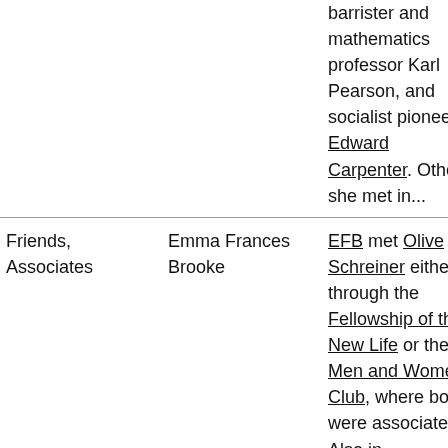|  |  | barrister and mathematics professor Karl Pearson, and socialist pioneer Edward Carpenter. Others she met in... |
| Friends, Associates | Emma Frances Brooke | EFB met Olive Schreiner either through the Fellowship of the New Life or the Men and Women's Club, where both were associates. Also in... |